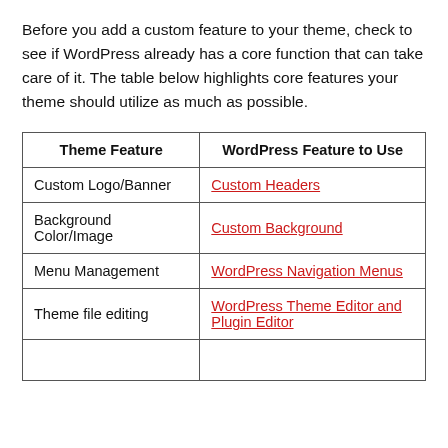Before you add a custom feature to your theme, check to see if WordPress already has a core function that can take care of it. The table below highlights core features your theme should utilize as much as possible.
| Theme Feature | WordPress Feature to Use |
| --- | --- |
| Custom Logo/Banner | Custom Headers |
| Background Color/Image | Custom Background |
| Menu Management | WordPress Navigation Menus |
| Theme file editing | WordPress Theme Editor and Plugin Editor |